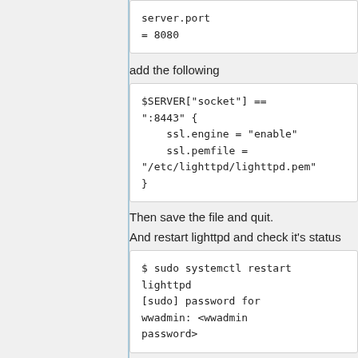server.port
= 8080
add the following
$SERVER["socket"] == ":8443" {
    ssl.engine = "enable"
    ssl.pemfile = "/etc/lighttpd/lighttpd.pem"
}
Then save the file and quit.
And restart lighttpd and check it's status
$ sudo systemctl restart lighttpd
[sudo] password for wwadmin: <wwadmin
password>